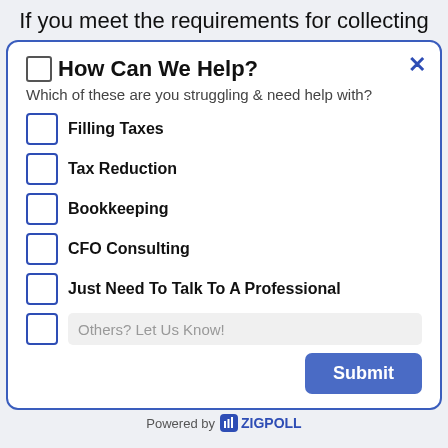If you meet the requirements for collecting
🗹 How Can We Help?
Which of these are you struggling & need help with?
Filling Taxes
Tax Reduction
Bookkeeping
CFO Consulting
Just Need To Talk To A Professional
Others? Let Us Know!
Submit
Powered by ZIGPOLL